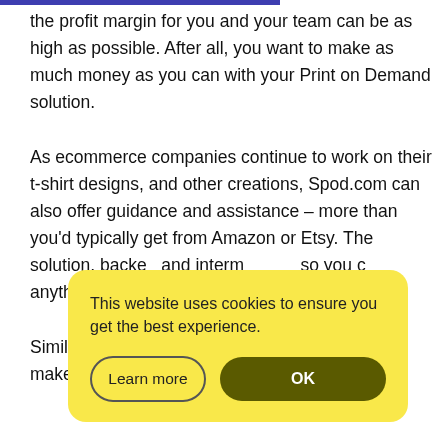the profit margin for you and your team can be as high as possible. After all, you want to make as much money as you can with your Print on Demand solution.
As ecommerce companies continue to work on their t-shirt designs, and other creations, Spod.com can also offer guidance and assistance – more than you'd typically get from Amazon or Etsy. The solution, backed and internationally, so you can anythi
Similarly, and beyond to make sure that you can make the most of
[Figure (other): Cookie consent overlay dialog with yellow background, text 'This website uses cookies to ensure you get the best experience.', a 'Learn more' button with outlined style, and an 'OK' button with dark olive background.]